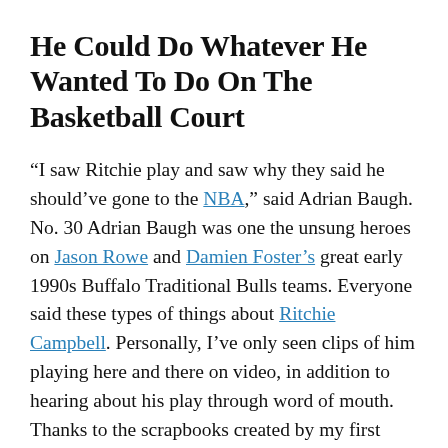He Could Do Whatever He Wanted To Do On The Basketball Court
“I saw Ritchie play and saw why they said he should’ve gone to the NBA,” said Adrian Baugh. No. 30 Adrian Baugh was one the unsung heroes on Jason Rowe and Damien Foster’s great early 1990s Buffalo Traditional Bulls teams. Everyone said these types of things about Ritchie Campbell. Personally, I’ve only seen clips of him playing here and there on video, in addition to hearing about his play through word of mouth. Thanks to the scrapbooks created by my first coach at Hutch-Tech, the late Dr. Kenneth Leon Jones, I was